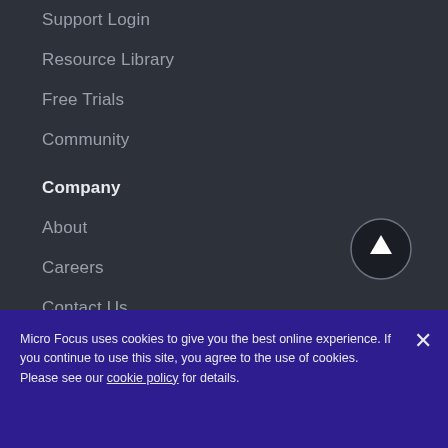Support Login
Resource Library
Free Trials
Community
Company
About
Careers
Contact Us
Investor Relations
Corporate Blog
Legal & Compliance
Micro Focus uses cookies to give you the best online experience. If you continue to use this site, you agree to the use of cookies. Please see our cookie policy for details.